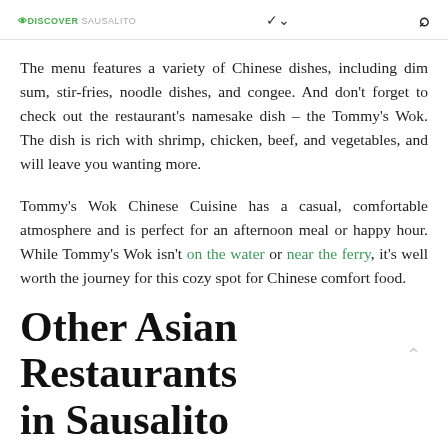DISCOVER Sausalito
The menu features a variety of Chinese dishes, including dim sum, stir-fries, noodle dishes, and congee. And don't forget to check out the restaurant's namesake dish – the Tommy's Wok. The dish is rich with shrimp, chicken, beef, and vegetables, and will leave you wanting more.
Tommy's Wok Chinese Cuisine has a casual, comfortable atmosphere and is perfect for an afternoon meal or happy hour. While Tommy's Wok isn't on the water or near the ferry, it's well worth the journey for this cozy spot for Chinese comfort food.
Other Asian Restaurants in Sausalito